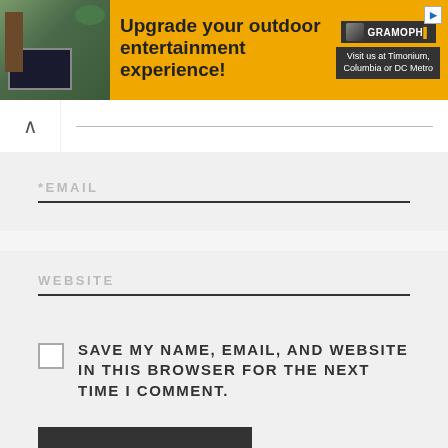[Figure (screenshot): Advertisement banner for Gramophone with outdoor entertainment photo and yellow background. Text: 'Upgrade your outdoor entertainment experience!' with Gramophone logo and 'Visit us at Timonium, Columbia or DC Metro']
*EMAIL
WEBSITE
SAVE MY NAME, EMAIL, AND WEBSITE IN THIS BROWSER FOR THE NEXT TIME I COMMENT.
POST COMMENT